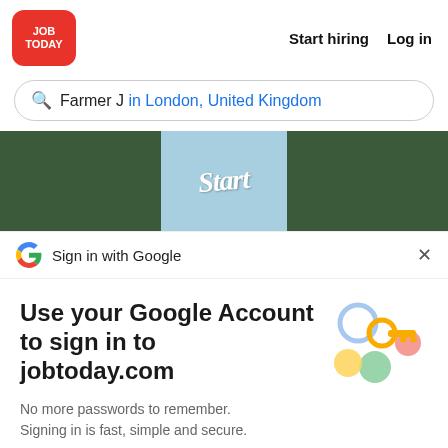JOB TODAY  Start hiring  Log in
Farmer J  in London, United Kingdom
[Figure (photo): Banner image showing the word 'Start' written in white script on a light blue panel, flanked by dark green panels]
Sign in with Google
Use your Google Account to sign in to jobtoday.com
No more passwords to remember. Signing in is fast, simple and secure.
[Figure (illustration): Google key illustration with colorful circles and a yellow key]
Continue